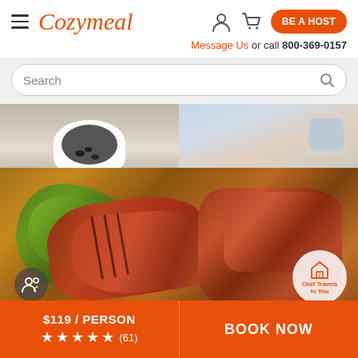[Figure (screenshot): Cozymeal website header with hamburger menu, logo in orange italic script, user/cart icons, and orange 'BE A HOST' button]
Message Us or call 800-369-0157
Search
[Figure (photo): Two food photos side by side at top: a bowl of dark mussels on the left and a broth/sauce on the right]
[Figure (photo): Large photo of grilled steak slices with chimichurri sauce on a wooden board, with a group icon badge on lower left and a 'Chef Travels to You' badge on lower right]
Family-Style Spanish Tapas
Private Chef
$ 119
$119 / PERSON
(61)
BOOK NOW